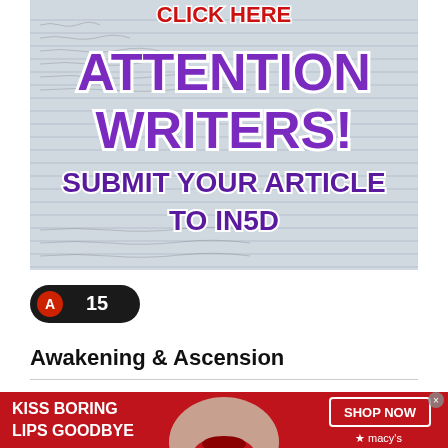[Figure (infographic): Advertisement banner showing hands writing on paper with bold purple text 'ATTENTION WRITERS! SUBMIT YOUR ARTICLE TO IN5D' and red text 'CLICK HERE' at the top]
[Figure (infographic): Dark pill-shaped button with a red circular icon and the number 15 in white text]
Awakening & Ascension
[Figure (infographic): Macy's advertisement banner with red background showing a woman's face with red lips, text 'KISS BORING LIPS GOODBYE' and 'SHOP NOW' button with Macy's star logo]